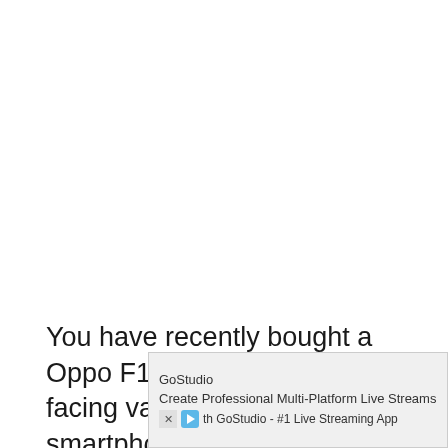You have recently bought a Oppo F19s smartphone and facing various problems with the smartphone? If yes, then in this article, we will be addressing the common
[Figure (other): Advertisement banner for GoStudio - Create Professional Multi-Platform Live Streams with GoStudio - #1 Live Streaming App]